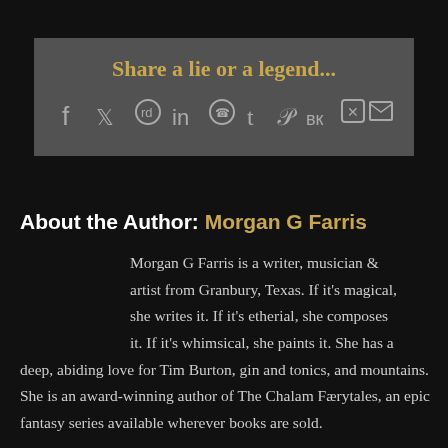Share a lie or a legend...
[Figure (infographic): Social media share icons: Facebook, Twitter, Reddit, LinkedIn, WhatsApp, Tumblr, Pinterest, VK, Xing, Email]
About the Author: Morgan G Farris
Morgan G Farris is a writer, musician & artist from Granbury, Texas. If it's magical, she writes it. If it's etherial, she composes it. If it's whimsical, she paints it. She has a deep, abiding love for Tim Burton, gin and tonics, and mountains. She is an award-winning author of The Chalam Færytales, an epic fantasy series available wherever books are sold.